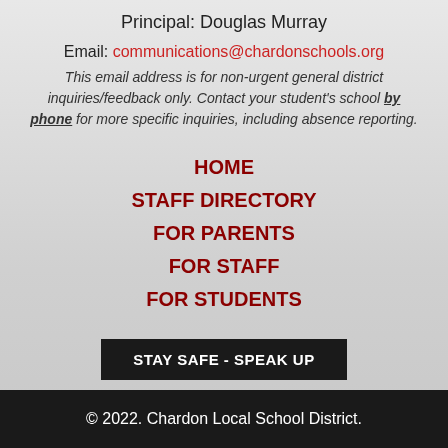Principal: Douglas Murray
Email: communications@chardonschools.org
This email address is for non-urgent general district inquiries/feedback only. Contact your student's school by phone for more specific inquiries, including absence reporting.
HOME
STAFF DIRECTORY
FOR PARENTS
FOR STAFF
FOR STUDENTS
STAY SAFE - SPEAK UP
© 2022. Chardon Local School District.